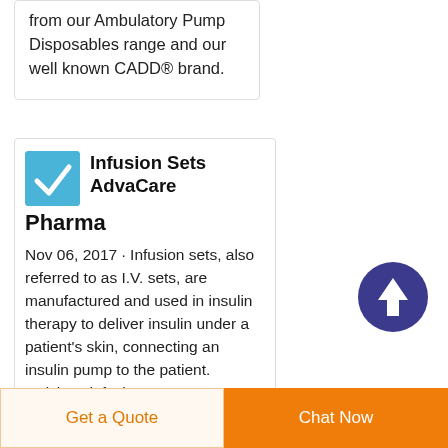from our Ambulatory Pump Disposables range and our well known CADD® brand.
Infusion Sets AdvaCare Pharma
Nov 06, 2017 · Infusion sets, also referred to as I.V. sets, are manufactured and used in insulin therapy to deliver insulin under a patient's skin, connecting an insulin pump to the patient. Quickset infusion sets are normally inserted in the abdomen for a faster
[Figure (illustration): Scroll to top button: dark blue circle with white upward arrow]
Get a Quote
Chat Now